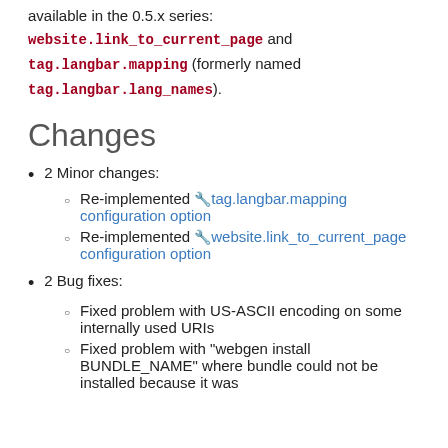available in the 0.5.x series: website.link_to_current_page and tag.langbar.mapping (formerly named tag.langbar.lang_names).
Changes
2 Minor changes:
Re-implemented 🔧tag.langbar.mapping configuration option
Re-implemented 🔧website.link_to_current_page configuration option
2 Bug fixes:
Fixed problem with US-ASCII encoding on some internally used URIs
Fixed problem with "webgen install BUNDLE_NAME" where bundle could not be installed because it was